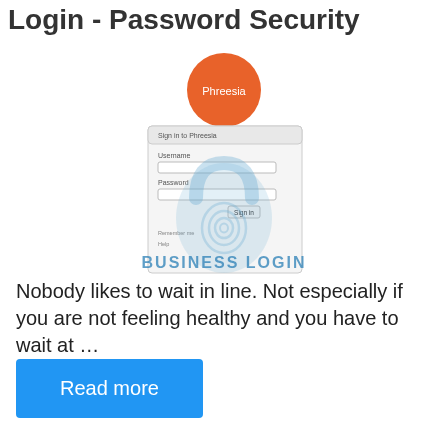Login - Password Security
[Figure (screenshot): Phreesia login page screenshot showing an orange circle logo with 'Phreesia' text, a login form with Username and Password fields and a Sign In button, overlaid with a blue fingerprint/padlock watermark and 'BUSINESS LOGIN' text watermark]
Nobody likes to wait in line. Not especially if you are not feeling healthy and you have to wait at ...
Read more